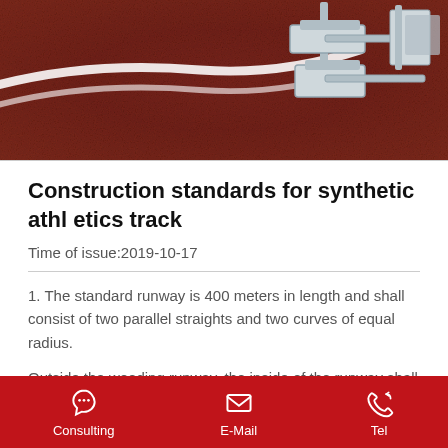[Figure (photo): Close-up photo of a red synthetic athletics track with white lane markings and metal starting blocks in the background.]
Construction standards for synthetic athletics track
Time of issue:2019-10-17
1. The standard runway is 400 meters in length and shall consist of two parallel straights and two curves of equal radius.
Outside the weeding runway, the inside of the runway shall be demarcated by the protruding edge made of suitable materials.The ridge is about 5 cm high and at least 5 cm wide.
Consulting  E-Mail  Tel